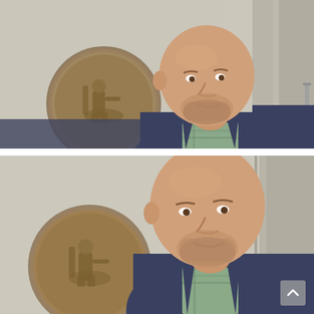[Figure (photo): Professional portrait of a bald man with short beard wearing a navy blazer and plaid shirt, photographed in front of a marble wall with a large circular bronze medallion depicting a seated figure. The photo is taken in a government or civic building interior.]
[Figure (photo): Cropped/zoomed version of the same professional portrait photo showing the same bald man with short beard in a navy blazer, with the same bronze medallion and marble column background, but framed more tightly. A small scroll-up button icon is visible in the bottom-right corner.]